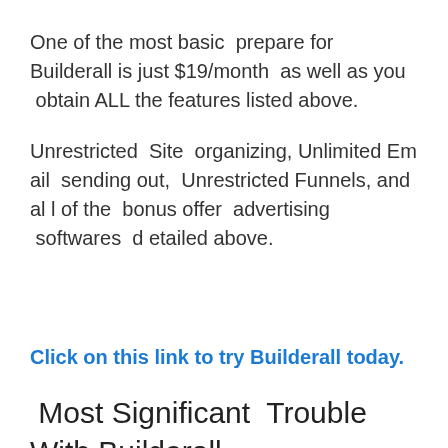One of the most basic  prepare for Builderall is just $19/month  as well as you  obtain ALL the features listed above.
Unrestricted  Site  organizing, Unlimited Email  sending out,  Unrestricted Funnels, and all of the  bonus offer  advertising  softwares  detailed above.
Click on this link to try Builderall today.
Most Significant  Trouble With Builderall